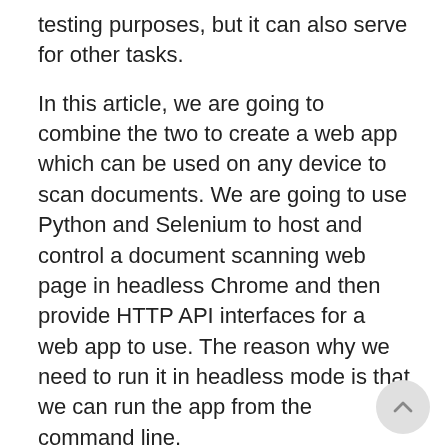testing purposes, but it can also serve for other tasks.
In this article, we are going to combine the two to create a web app which can be used on any device to scan documents. We are going to use Python and Selenium to host and control a document scanning web page in headless Chrome and then provide HTTP API interfaces for a web app to use. The reason why we need to run it in headless mode is that we can run the app from the command line.
Let's do this in steps.
What You Should Know About Dynamic Web